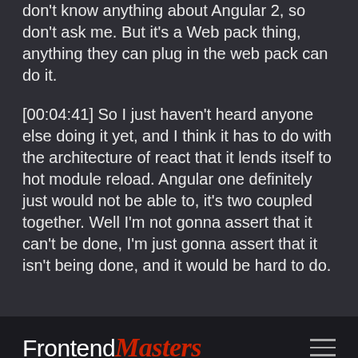don't know anything about Angular 2, so don't ask me. But it's a Web pack thing, anything they can plug in the web pack can do it.
[00:04:41] So I just haven't heard anyone else doing it yet, and I think it has to do with the architecture of react that it lends itself to hot module reload. Angular one definitely just would not be able to, it's two coupled together. Well I'm not gonna assert that it can't be done, I'm just gonna assert that it isn't being done, and it would be hard to do.
FrontendMasters